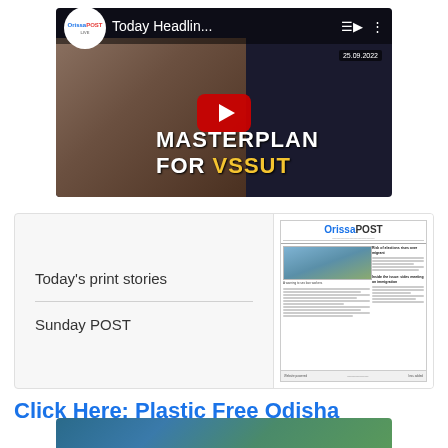[Figure (screenshot): YouTube video thumbnail for OrissaPOST with title 'Today Headlin...' showing a man's face and text 'MASTERPLAN FOR VSSUT' with a play button]
[Figure (screenshot): OrissaPOST ePaper preview card showing Today's print stories and Sunday POST links alongside a newspaper front page thumbnail]
Today's print stories
Sunday POST
Click Here: Plastic Free Odisha
[Figure (photo): Partial photo of a building with trees at the bottom of the page]